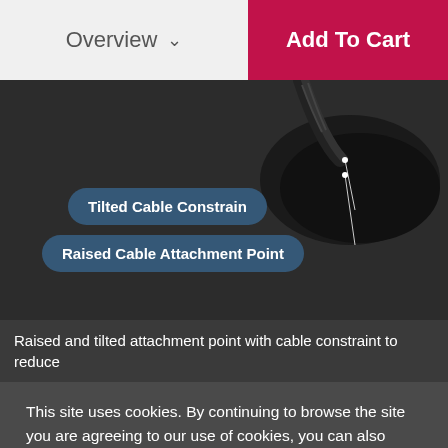Overview  ∨    Add To Cart
[Figure (photo): Close-up photo of a computer mouse cable connector showing the attachment point, with labeled callouts for 'Tilted Cable Constrain' and 'Raised Cable Attachment Point']
Raised and tilted attachment point with cable constraint to reduce
This site uses cookies. By continuing to browse the site you are agreeing to our use of cookies, you can also manage your cookie preference on your browsers. Find More
x